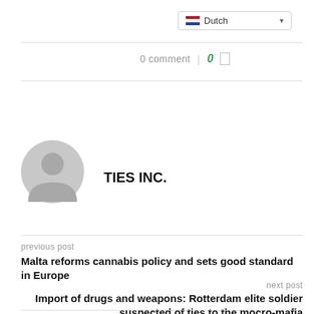[Figure (screenshot): Dutch language selector dropdown button with Netherlands flag icon]
0 comment | 0 □
[Figure (illustration): Generic user avatar — grey circle with silhouette of person's head and shoulders]
TIES INC.
previous post
Malta reforms cannabis policy and sets good standard in Europe
next post
Import of drugs and weapons: Rotterdam elite soldier suspected of ties to the mocro-mafia